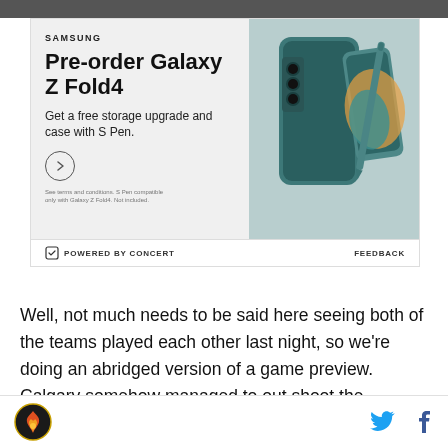[Figure (photo): Dark top photo strip - partial image of people]
[Figure (infographic): Samsung advertisement for Galaxy Z Fold4. Text: SAMSUNG, Pre-order Galaxy Z Fold4, Get a free storage upgrade and case with S Pen. Features a teal/green folding phone with S Pen. Small disclaimer text at bottom. Arrow circle button visible.]
[Figure (logo): Powered by Concert bar with concert logo icon and FEEDBACK text]
Well, not much needs to be said here seeing both of the teams played each other last night, so we're doing an abridged version of a game preview. Calgary somehow managed to out shoot the Canucks 46-13,
Site logo icon (flame/bird emblem) on left. Twitter bird icon and Facebook f icon on right.